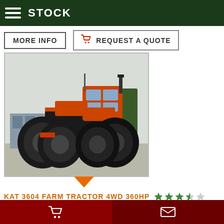STOCK
MORE INFO | REQUEST A QUOTE
[Figure (photo): Orange KAT 3604 farm tractor 4WD with large dual rear wheels, front view-angle, industrial yard background]
KAT 3604 FARM TRACTOR 4WD 360HP
Cart icon | Envelope icon